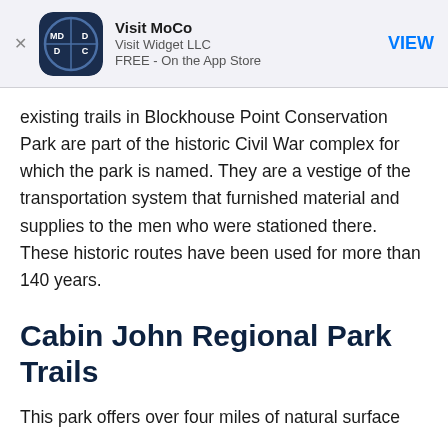[Figure (other): App store ad banner for 'Visit MoCo' by Visit Widget LLC, FREE on the App Store, with VIEW button]
existing trails in Blockhouse Point Conservation Park are part of the historic Civil War complex for which the park is named. They are a vestige of the transportation system that furnished material and supplies to the men who were stationed there. These historic routes have been used for more than 140 years.
Cabin John Regional Park Trails
This park offers over four miles of natural surface